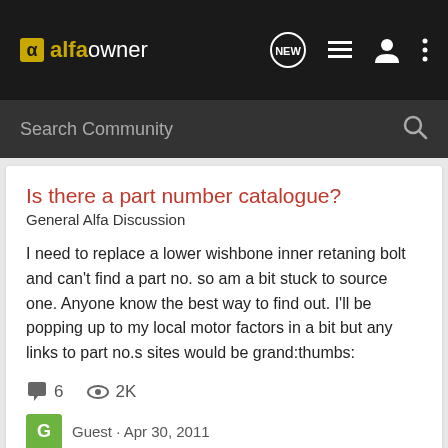alfaowner
Search Community
Is there a part number catalogue?
General Alfa Discussion
I need to replace a lower wishbone inner retaning bolt and can't find a part no. so am a bit stuck to source one. Anyone know the best way to find out. I'll be popping up to my local motor factors in a bit but any links to part no.s sites would be grand:thumbs:
6   2K
Guest · Apr 30, 2011
catalogue
number
part
Parts Catalogue CD ???